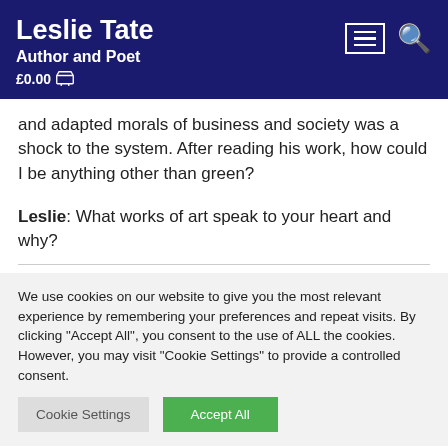Leslie Tate Author and Poet £0.00
and adapted morals of business and society was a shock to the system. After reading his work, how could I be anything other than green?
Leslie: What works of art speak to your heart and why?
We use cookies on our website to give you the most relevant experience by remembering your preferences and repeat visits. By clicking "Accept All", you consent to the use of ALL the cookies. However, you may visit "Cookie Settings" to provide a controlled consent.